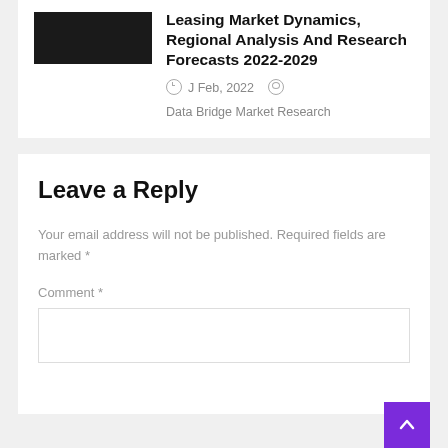[Figure (photo): Black thumbnail image placeholder for article]
Leasing Market Dynamics, Regional Analysis And Research Forecasts 2022-2029
J Feb, 2022   Data Bridge Market Research
Leave a Reply
Your email address will not be published. Required fields are marked *
Comment *